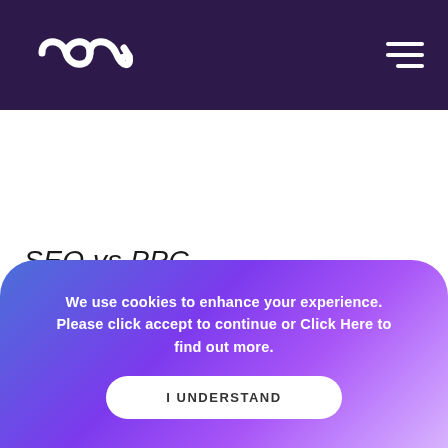[Figure (logo): Company logo with stylized infinity/loop icon in white on dark purple header background]
SEO vs PPC
We use cookies to enhance your experience. Please click accept to continue or Click Here to find out more.
I UNDERSTAND